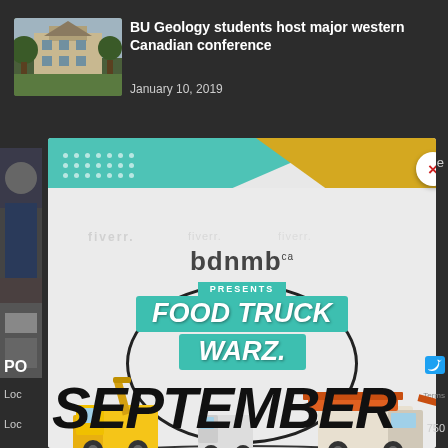[Figure (screenshot): Dark background webpage showing a news article card with thumbnail of a university building and trees, with title 'BU Geology students host major western Canadian conference' dated January 10, 2019, and an overlapping popup advertisement for 'bdnmb presents Food Truck Warz' event in September, with illustrated food trucks and colorful geometric design.]
BU Geology students host major western Canadian conference
January 10, 2019
bdnmb presents FOOD TRUCK WARZ
SEPTEMBER